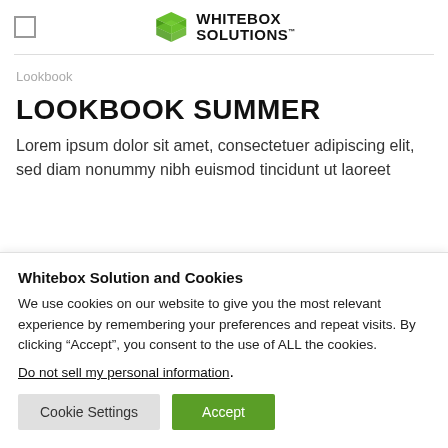Whitebox Solutions
Lookbook
LOOKBOOK SUMMER
Lorem ipsum dolor sit amet, consectetuer adipiscing elit, sed diam nonummy nibh euismod tincidunt ut laoreet
Whitebox Solution and Cookies
We use cookies on our website to give you the most relevant experience by remembering your preferences and repeat visits. By clicking “Accept”, you consent to the use of ALL the cookies.
Do not sell my personal information.